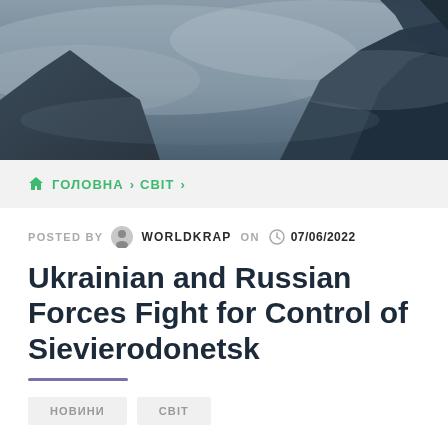[Figure (photo): Dark moody mountain landscape background with rocky peaks partially obscured by clouds or mist, blue-grey tones.]
🏠 ГОЛОВНА > СВІТ >
POSTED BY  WORLDKRAP  ON  07/06/2022
Ukrainian and Russian Forces Fight for Control of Sievierodonetsk
НОВИНИ
СВІТ